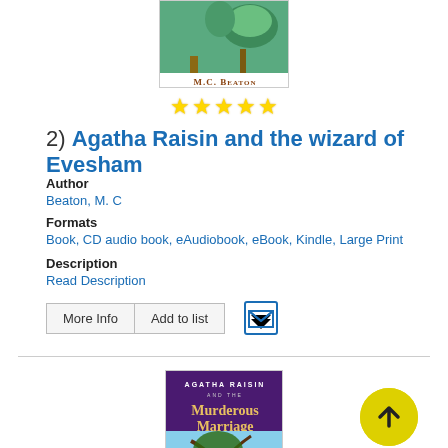[Figure (illustration): Book cover for M.C. Beaton novel showing a green/teal illustrated cover with author name 'M.C. Beaton' at bottom]
[Figure (illustration): Five gold star rating icons]
2) Agatha Raisin and the wizard of Evesham
Author
Beaton, M. C
Formats
Book, CD audio book, eAudiobook, eBook, Kindle, Large Print
Description
Read Description
[Figure (illustration): Book cover for 'Agatha Raisin and the Murderous Marriage' by M.C. Beaton showing a gnarled tree in a countryside landscape with purple top section]
[Figure (illustration): Yellow circular up-arrow scroll-to-top button]